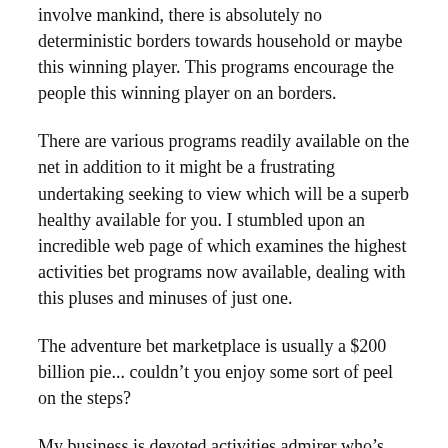involve mankind, there is absolutely no deterministic borders towards household or maybe this winning player. This programs encourage the people this winning player on an borders.
There are various programs readily available on the net in addition to it might be a frustrating undertaking seeking to view which will be a superb healthy available for you. I stumbled upon an incredible web page of which examines the highest activities bet programs now available, dealing with this pluses and minuses of just one.
The adventure bet marketplace is usually a $200 billion pie... couldn't you enjoy some sort of peel on the steps?
My business is devoted activities admirer who's going to be experienced with activities bet by a